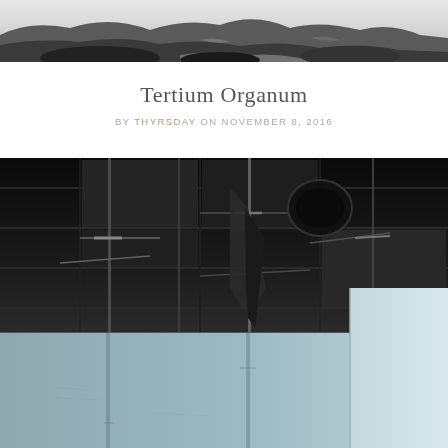[Figure (photo): Black and white photograph of a rocky mountainous or coastal landscape, partial view at top of page]
Tertium Organum
BY THYRSDAY ON NOVEMBER 8, 2016
[Figure (photo): Color photograph of a dark industrial ceiling with black metal grid structure and hanging rods/cables, with pale blue-grey walls visible below]